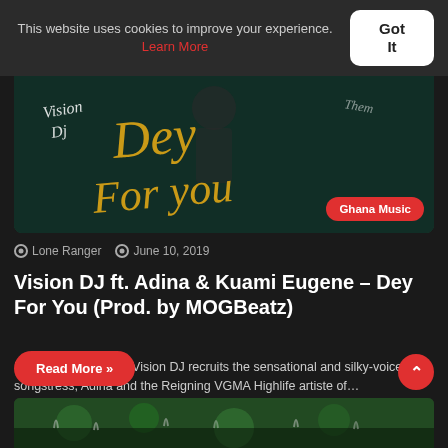This website uses cookies to improve your experience. Learn More
Got It
[Figure (photo): Music artwork for Vision DJ ft. Adina & Kuami Eugene – Dey For You, showing cursive yellow text 'Dey For You' on dark background with Ghana Music badge]
Lone Ranger   June 10, 2019
Vision DJ ft. Adina & Kuami Eugene – Dey For You (Prod. by MOGBeatz)
Prolific Disc jockey – Vision DJ recruits the sensational and silky-voice songstress, Adina and the Reigning VGMA Highlife artiste of…
Read More »
[Figure (photo): Partial view of next article image showing crowd with green lighting]